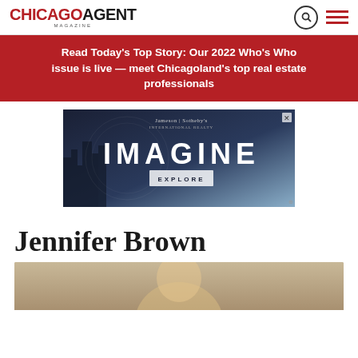CHICAGO AGENT MAGAZINE
Read Today's Top Story: Our 2022 Who's Who issue is live — meet Chicagoland's top real estate professionals
[Figure (advertisement): Jameson Sotheby's International Realty advertisement with dark blue background showing city skyline, text IMAGINE and EXPLORE button]
Jennifer Brown
[Figure (photo): Partial photo of Jennifer Brown, cropped at bottom of page]